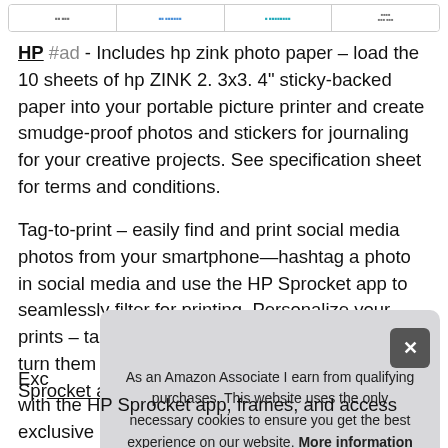[Figure (screenshot): Top bar with four product thumbnail items in a row]
HP #ad - Includes hp zink photo paper – load the 10 sheets of hp ZINK 2. 3x3. 4" sticky-backed paper into your portable picture printer and create smudge-proof photos and stickers for journaling for your creative projects. See specification sheet for terms and conditions.
Tag-to-print – easily find and print social media photos from your smartphone—hashtag a photo in social media and use the HP Sprocket app to seamlessly filter for printing. Personalize your prints – take a picture of your own doodles and turn them into custom stickers, using the free HP Sprocket app.
As an Amazon Associate I earn from qualifying purchases. This website uses the only necessary cookies to ensure you get the best experience on our website. More information
Exc with the HP Sprocket app, frames, and access exclusive